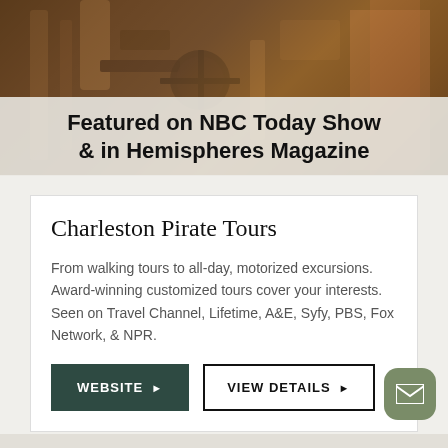[Figure (photo): Photo of antique wooden nautical/pirate items including a ship's wheel and cannon, with a person in plaid shirt visible on the right]
Featured on NBC Today Show & in Hemispheres Magazine
Charleston Pirate Tours
From walking tours to all-day, motorized excursions. Award-winning customized tours cover your interests. Seen on Travel Channel, Lifetime, A&E, Syfy, PBS, Fox Network, & NPR.
WEBSITE ▶
VIEW DETAILS ▶